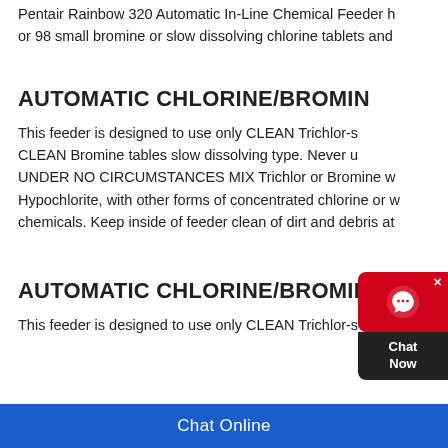Pentair Rainbow 320 Automatic In-Line Chemical Feeder h... or 98 small bromine or slow dissolving chlorine tablets and...
AUTOMATIC CHLORINE/BROMINE* F...
This feeder is designed to use only CLEAN Trichlor-s... CLEAN Bromine tables slow dissolving type. Never u... UNDER NO CIRCUMSTANCES MIX Trichlor or Bromine w... Hypochlorite, with other forms of concentrated chlorine or w... chemicals. Keep inside of feeder clean of dirt and debris at...
AUTOMATIC CHLORINE/BROMINE* F...
This feeder is designed to use only CLEAN Trichlor-s-trizine...
Chat Online